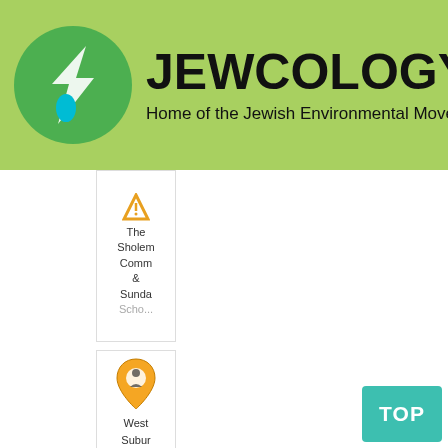[Figure (logo): Jewcology.org header banner with green circle logo containing a leaf and water drop, text JEWCOLOGY.ORG and subtitle Home of the Jewish Environmental Movement on green background]
[Figure (screenshot): Partial card showing The Sholem Community & Sunday School entry with arrow icon, clipped at top]
[Figure (screenshot): Card showing West Suburban Temple Har Zion with orange map pin icon]
[Figure (screenshot): Card showing Congr M'kor Shalon (partial text)]
[Figure (other): Teal TOP button in bottom right corner]